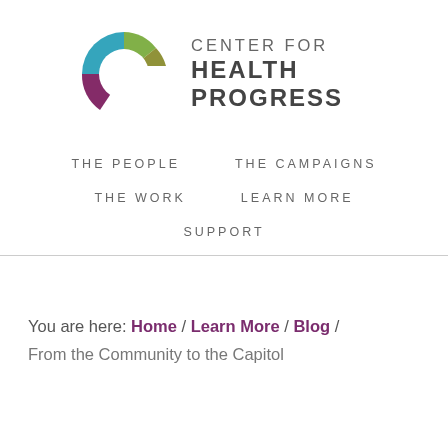[Figure (logo): Center for Health Progress logo — a stylized C shape made of colored arcs (teal, olive green, dark olive, mustard yellow, dark purple/maroon) alongside the text CENTER FOR HEALTH PROGRESS]
CENTER FOR HEALTH PROGRESS
THE PEOPLE    THE CAMPAIGNS
THE WORK    LEARN MORE
SUPPORT
You are here: Home / Learn More / Blog /
From the Community to the Capitol